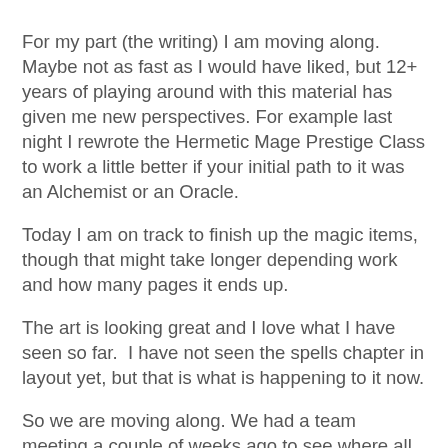For my part (the writing) I am moving along. Maybe not as fast as I would have liked, but 12+ years of playing around with this material has given me new perspectives. For example last night I rewrote the Hermetic Mage Prestige Class to work a little better if your initial path to it was an Alchemist or an Oracle.
Today I am on track to finish up the magic items, though that might take longer depending work and how many pages it ends up.
The art is looking great and I love what I have seen so far.  I have not seen the spells chapter in layout yet, but that is what is happening to it now.
So we are moving along. We had a team meeting a couple of weeks ago to see where all the departments are at and things are good.
I am really looking forward to getting this into your hands.  It